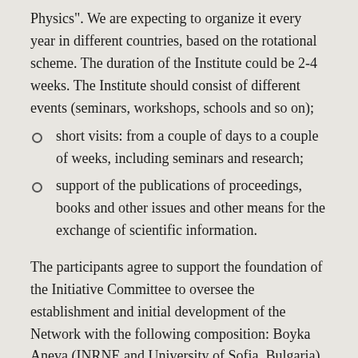Physics". We are expecting to organize it every year in different countries, based on the rotational scheme. The duration of the Institute could be 2-4 weeks. The Institute should consist of different events (seminars, workshops, schools and so on);
short visits: from a couple of days to a couple of weeks, including seminars and research;
support of the publications of proceedings, books and other issues and other means for the exchange of scientific information.
The participants agree to support the foundation of the Initiative Committee to oversee the establishment and initial development of the Network with the following composition: Boyka Aneva (INRNE and University of Sofia, Bulgaria), Goran Djordjevic